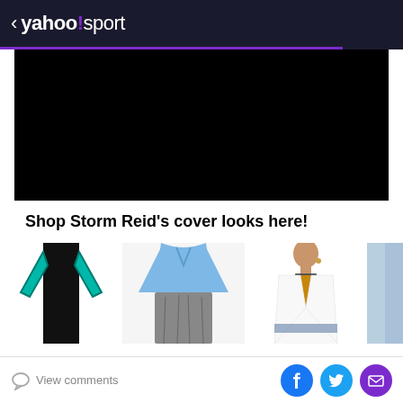< yahoo!sport
[Figure (photo): Black video player area]
Shop Storm Reid's cover looks here!
[Figure (photo): Row of fashion product images: black and teal jumpsuit, blue cardigan with grey skirt, white blouse, blue garment (partial)]
View comments | Facebook | Twitter | Mail